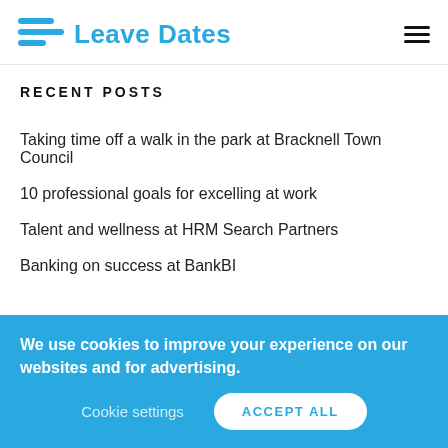Leave Dates
RECENT POSTS
Taking time off a walk in the park at Bracknell Town Council
10 professional goals for excelling at work
Talent and wellness at HRM Search Partners
Banking on success at BankBI
We use cookies to improve your experience on our websites and for advertising.
Cookie settings
ACCEPT ALL